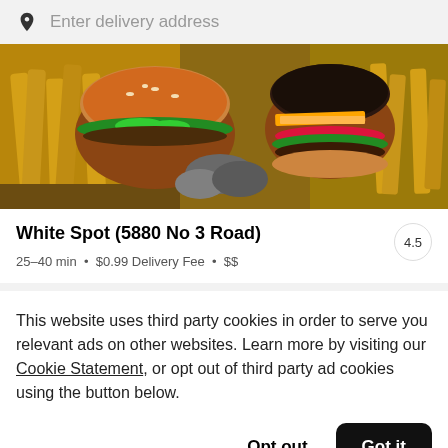Enter delivery address
[Figure (photo): Food photo showing burgers and crinkle-cut fries on a wooden surface]
White Spot (5880 No 3 Road)
25–40 min • $0.99 Delivery Fee • $$
This website uses third party cookies in order to serve you relevant ads on other websites. Learn more by visiting our Cookie Statement, or opt out of third party ad cookies using the button below.
Opt out
Got it